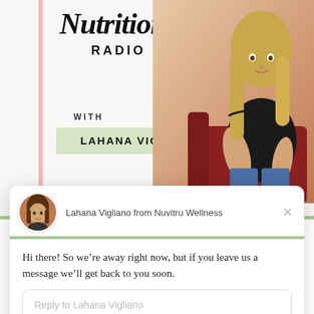[Figure (photo): Podcast cover art showing 'Nutrition RADIO' title in script and block letters, with woman seated in off-shoulder black top and jeans on a red chair. Pink and green decorative stripes on sides. Name badge reads 'LAHANA VIGLIANO, CCN'.]
Nutrition RADIO
WITH
LAHANA VIGLIANO, CCN
[Figure (screenshot): Chat widget popup from Drift chat platform. Shows avatar of Lahana Vigliano (woman with brown hair) and name 'Lahana Vigliano from Nuvitru Wellness'. Message reads: 'Hi there! So we're away right now, but if you leave us a message we'll get back to you soon.' Reply input box with placeholder 'Reply to Lahana Vigliano'. Footer: 'Chat ⚡ by Drift']
Lahana Vigliano from Nuvitru Wellness
Hi there! So we’re away right now, but if you leave us a message we’ll get back to you soon.
Reply to Lahana Vigliano
Chat ⚡ by Drift